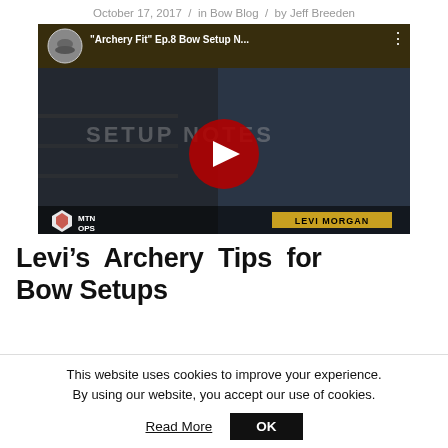October 17, 2017 / in Bow Blog / by Jeff Breeden
[Figure (screenshot): YouTube video thumbnail for "Archery Fit" Ep.8 Bow Setup N... showing a man holding papers in a dark store setting with SETUP NOTES text overlay, MTN OPS logo, and LEVI MORGAN name tag]
Levi’s Archery Tips for Bow Setups
This website uses cookies to improve your experience. By using our website, you accept our use of cookies.
Read More   OK